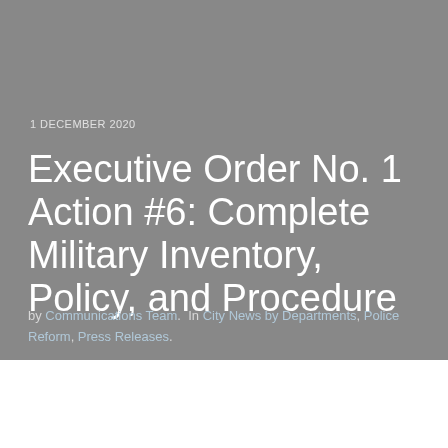1 DECEMBER 2020
Executive Order No. 1 Action #6: Complete Military Inventory, Policy, and Procedure
by Communications Team. In City News by Departments, Police Reform, Press Releases.